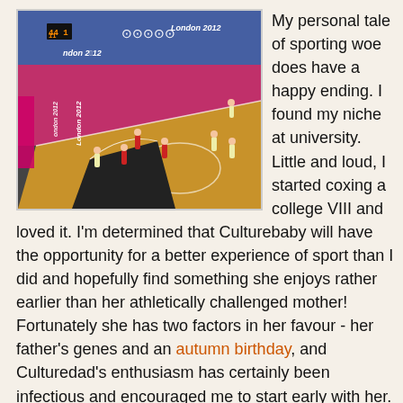[Figure (photo): Aerial view of a basketball game at the London 2012 Olympics, showing players on a wooden court with red and white uniforms, spectators in blue seats visible in the background, and London 2012 Olympic branding on the court.]
My personal tale of sporting woe does have a happy ending. I found my niche at university. Little and loud, I started coxing a college VIII and loved it. I'm determined that Culturebaby will have the opportunity for a better experience of sport than I did and hopefully find something she enjoys rather earlier than her athletically challenged mother! Fortunately she has two factors in her favour - her father's genes and an autumn birthday, and Culturedad's enthusiasm has certainly been infectious and encouraged me to start early with her. We've been going to swimming lessons since Culturebaby was a few months old and I couldn't recommend them more highly. Our swimming school consists of a small group of mums in a pool that is part of a